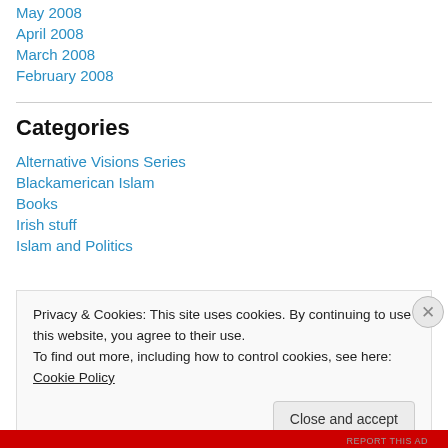May 2008
April 2008
March 2008
February 2008
Categories
Alternative Visions Series
Blackamerican Islam
Books
Irish stuff
Islam and Politics
Privacy & Cookies: This site uses cookies. By continuing to use this website, you agree to their use.
To find out more, including how to control cookies, see here: Cookie Policy
Close and accept